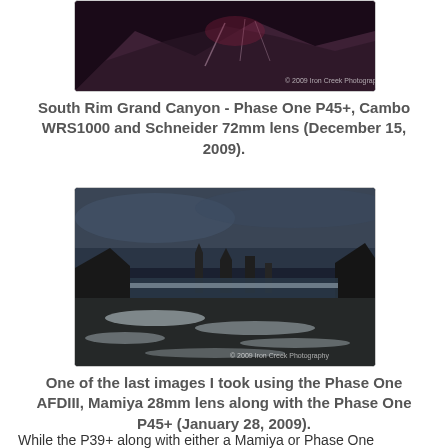[Figure (photo): Aerial or elevated view of a volcanic mountain with reddish-purple hues and snow/ash streaks, with a watermark '© 2009 Iron Creek Photography' in the lower right corner.]
South Rim Grand Canyon - Phase One P45+, Cambo WRS1000 and Schneider 72mm lens (December 15, 2009).
[Figure (photo): Coastal seascape with large dark sea stacks and rocky formations, with ocean waves rushing across a rocky foreground in moody blue-grey tones. Watermark '© 2009 Iron Creek Photography' in the lower right corner.]
One of the last images I took using the Phase One AFDIII, Mamiya 28mm lens along with the Phase One P45+ (January 28, 2009).
While the P39+ along with either a Mamiya or Phase One